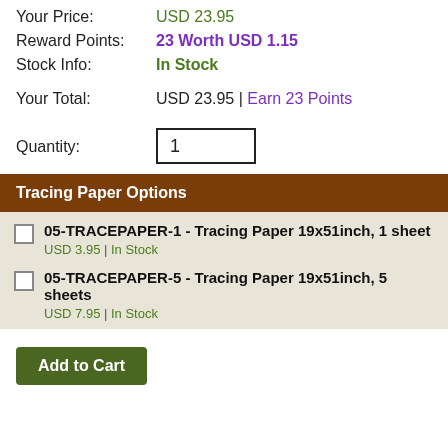Your Price: USD 23.95
Reward Points: 23 Worth USD 1.15
Stock Info: In Stock
Your Total: USD 23.95 | Earn 23 Points
Quantity: 1
Tracing Paper Options
05-TRACEPAPER-1 - Tracing Paper 19x51inch, 1 sheet
USD 3.95 | In Stock
05-TRACEPAPER-5 - Tracing Paper 19x51inch, 5 sheets
USD 7.95 | In Stock
Add to Cart